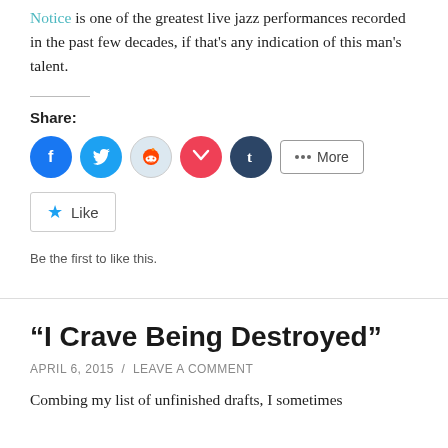Notice is one of the greatest live jazz performances recorded in the past few decades, if that's any indication of this man's talent.
Share:
[Figure (other): Social share buttons: Facebook, Twitter, Reddit, Pocket, Tumblr, and More]
[Figure (other): Like button with star icon and caption: Be the first to like this.]
Be the first to like this.
“I Crave Being Destroyed”
APRIL 6, 2015 / LEAVE A COMMENT
Combing my list of unfinished drafts, I sometimes